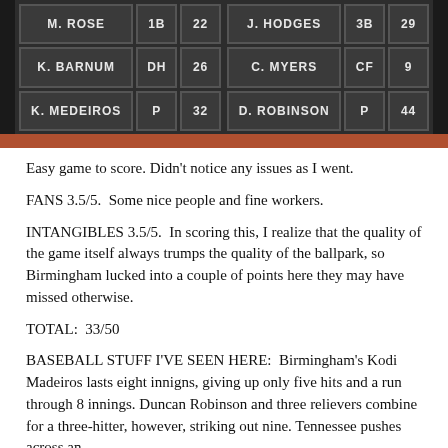[Figure (photo): Chalkboard lineup card showing player names, positions, and jersey numbers for two teams. Left side: M. ROSE 1B 22, K. BARNUM DH 26, K. MEDEIROS P 32. Right side: J. HODGES 3B 29, C. MYERS CF 9, D. ROBINSON P 44. Below is a brick wall.]
Easy game to score. Didn't notice any issues as I went.
FANS 3.5/5.  Some nice people and fine workers.
INTANGIBLES 3.5/5.  In scoring this, I realize that the quality of the game itself always trumps the quality of the ballpark, so Birmingham lucked into a couple of points here they may have missed otherwise.
TOTAL:  33/50
BASEBALL STUFF I'VE SEEN HERE:  Birmingham's Kodi Madeiros lasts eight innigns, giving up only five hits and a run through 8 innings. Duncan Robinson and three relievers combine for a three-hitter, however, striking out nine. Tennessee pushes across an